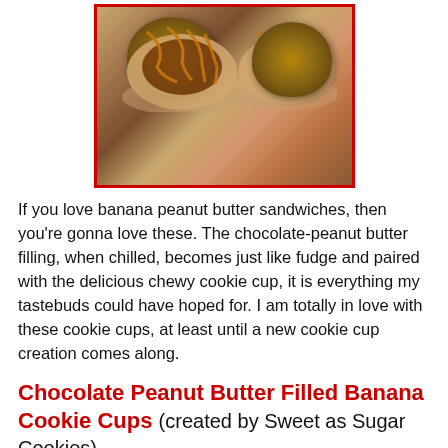[Figure (photo): Two chocolate peanut butter filled banana cookie cups on a white surface, drizzled with peanut butter sauce, with a red border frame]
If you love banana peanut butter sandwiches, then you're gonna love these. The chocolate-peanut butter filling, when chilled, becomes just like fudge and paired with the delicious chewy cookie cup, it is everything my tastebuds could have hoped for. I am totally in love with these cookie cups, at least until a new cookie cup creation comes along.
Chocolate Peanut Butter Filled Banana Cookie Cups (created by Sweet as Sugar Cookies)
Banana Cookie Cups (adapted from The Kitchn)
1/2 c. unsalted butter, softened
1 c. sugar